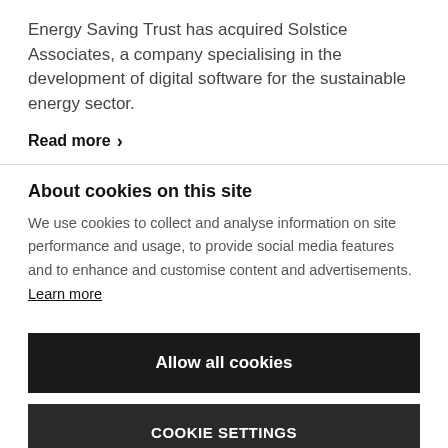Energy Saving Trust has acquired Solstice Associates, a company specialising in the development of digital software for the sustainable energy sector.
Read more >
About cookies on this site
We use cookies to collect and analyse information on site performance and usage, to provide social media features and to enhance and customise content and advertisements. Learn more
Allow all cookies
COOKIE SETTINGS